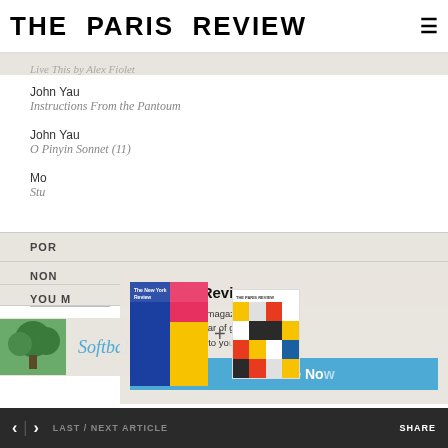THE PARIS REVIEW
Live This by Alex Fiolet
John Yau
Instructions From the Pantoum
John Yau
O Pinyin Sonnet (11)
Mo
Stu
POR
NON
YOU M
[Figure (screenshot): Subscription modal overlay showing The New York Review and The Paris Review magazine covers with a plus sign between them, a title 'The Paris Review', subscription text, and a blue 'Subscribe No' button]
Softball Season
< | > LAST / NEXT ARTICLE    SHARE